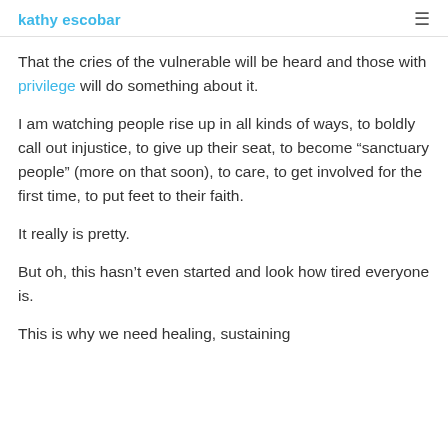kathy escobar
That the cries of the vulnerable will be heard and those with privilege will do something about it.
I am watching people rise up in all kinds of ways, to boldly call out injustice, to give up their seat, to become "sanctuary people" (more on that soon), to care, to get involved for the first time, to put feet to their faith.
It really is pretty.
But oh, this hasn't even started and look how tired everyone is.
This is why we need healing, sustaining